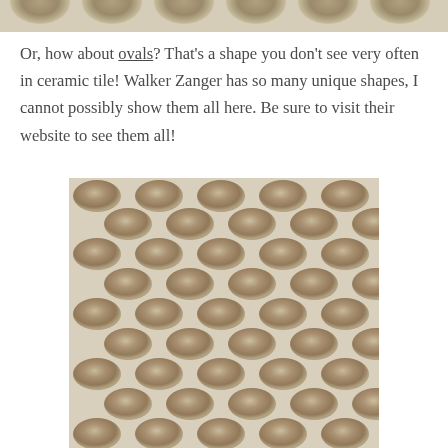[Figure (photo): Top partial image of a ceramic tile pattern, cropped at top of page]
Or, how about ovals?  That's a shape you don't see very often in ceramic tile!  Walker Zanger has so many unique shapes, I cannot possibly show them all here.  Be sure to visit their website to see them all!
[Figure (photo): Close-up photograph of Walker Zanger oval-shaped ceramic tiles in a beige/taupe color, arranged in a repeating pattern with white grout lines]